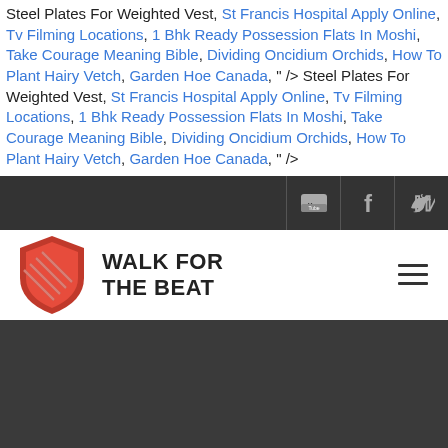Steel Plates For Weighted Vest, St Francis Hospital Apply Online, Tv Filming Locations, 1 Bhk Ready Possession Flats In Moshi, Take Courage Meaning Bible, Dividing Oncidium Orchids, How To Plant Hairy Vetch, Garden Hoe Canada, " /> Steel Plates For Weighted Vest, St Francis Hospital Apply Online, Tv Filming Locations, 1 Bhk Ready Possession Flats In Moshi, Take Courage Meaning Bible, Dividing Oncidium Orchids, How To Plant Hairy Vetch, Garden Hoe Canada, " />
[Figure (screenshot): Dark social bar with YouTube, Facebook, and Twitter icons on the right]
[Figure (logo): Walk For The Beat logo with red shield icon and bold uppercase text WALK FOR THE BEAT, hamburger menu icon on the right]
[Figure (photo): Dark gray section, partial view of a large background area]